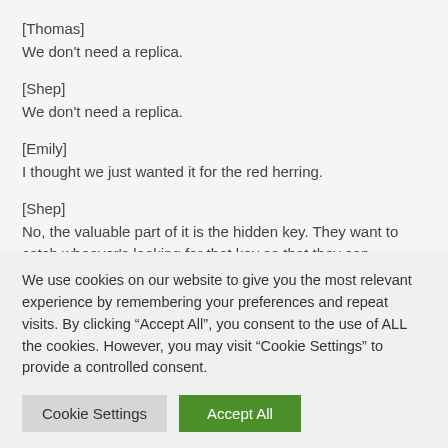[Thomas]
We don't need a replica.
[Shep]
We don't need a replica.
[Emily]
I thought we just wanted it for the red herring.
[Shep]
No, the valuable part of it is the hidden key. They want to catch whoever's looking for that key so that they can discover what the key goes to. So they don't want any red herrings to
We use cookies on our website to give you the most relevant experience by remembering your preferences and repeat visits. By clicking “Accept All”, you consent to the use of ALL the cookies. However, you may visit "Cookie Settings" to provide a controlled consent.